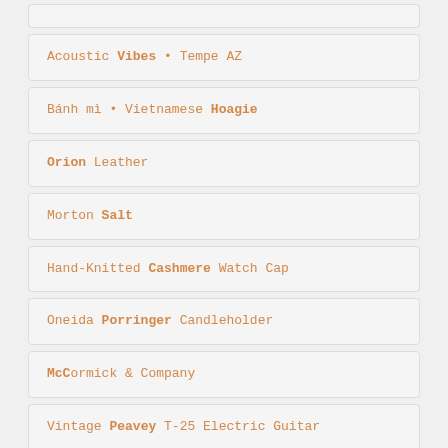Acoustic Vibes • Tempe AZ
Bánh mì • Vietnamese Hoagie
Orion Leather
Morton Salt
Hand-Knitted Cashmere Watch Cap
Oneida Porringer Candleholder
McCormick & Company
Vintage Peavey T-25 Electric Guitar